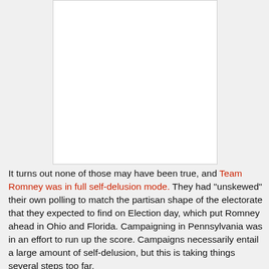[Figure (other): White rectangular box, likely a placeholder for an image or chart above the text.]
It turns out none of those may have been true, and Team Romney was in full self-delusion mode. They had "unskewed" their own polling to match the partisan shape of the electorate that they expected to find on Election day, which put Romney ahead in Ohio and Florida. Campaigning in Pennsylvania was in an effort to run up the score. Campaigns necessarily entail a large amount of self-delusion, but this is taking things several steps too far.